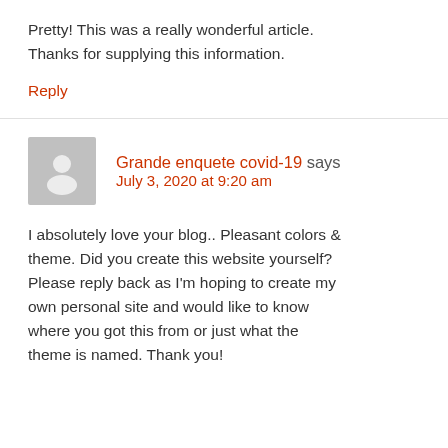Pretty! This was a really wonderful article. Thanks for supplying this information.
Reply
Grande enquete covid-19 says
July 3, 2020 at 9:20 am
I absolutely love your blog.. Pleasant colors & theme. Did you create this website yourself? Please reply back as I'm hoping to create my own personal site and would like to know where you got this from or just what the theme is named. Thank you!